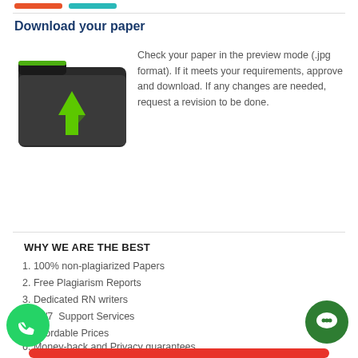Download your paper
[Figure (illustration): A dark folder icon with a green downward arrow inside it, representing a download action.]
Check your paper in the preview mode (.jpg format). If it meets your requirements, approve and download. If any changes are needed, request a revision to be done.
WHY WE ARE THE BEST
1. 100% non-plagiarized Papers
2. Free Plagiarism Reports
3. Dedicated RN writers
4. 24/7  Support Services
5. Affordable Prices
6. Money-back and Privacy guarantees
7. Unlimited Amendments upon request
8. Satisfaction guarantee